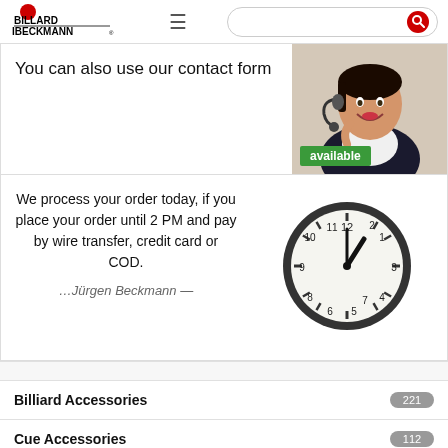[Figure (logo): Billard Beckmann logo with red dot and black text]
You can also use our contact form
[Figure (photo): Customer service woman with headset smiling]
available
We process your order today, if you place your order until 2 PM and pay by wire transfer, credit card or COD.
…Jürgen Beckmann —
[Figure (illustration): Analog clock showing approximately 1:45]
Billiard Accessories 221
Cue Accessories 112
Ferrules 7